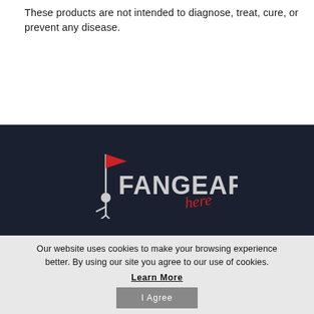These products are not intended to diagnose, treat, cure, or prevent any disease.
[Figure (logo): FanGear Here logo — white stick figure holding a red flag above bold white text FANGEAR with red italic cursive 'here' below, on dark navy background]
Our website uses cookies to make your browsing experience better. By using our site you agree to our use of cookies.
Learn More
I Agree